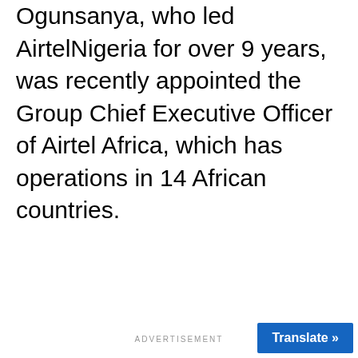Ogunsanya, who led AirtelNigeria for over 9 years, was recently appointed the Group Chief Executive Officer of Airtel Africa, which has operations in 14 African countries.
ADVERTISEMENT
Translate »